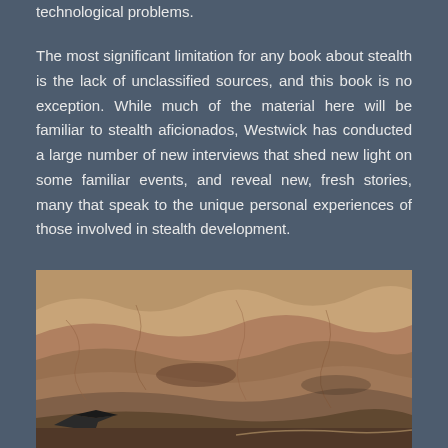technological problems.
The most significant limitation for any book about stealth is the lack of unclassified sources, and this book is no exception. While much of the material here will be familiar to stealth aficionados, Westwick has conducted a large number of new interviews that shed new light on some familiar events, and reveal new, fresh stories, many that speak to the unique personal experiences of those involved in stealth development.
[Figure (photo): Aerial photograph of a stealth aircraft (appears to be an F-117 Nighthawk) flying over rugged desert terrain with dry brown hills and eroded landscape below.]